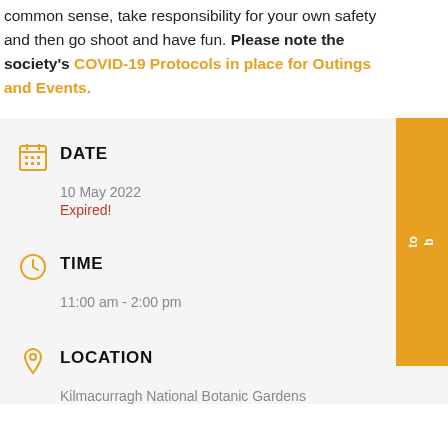common sense, take responsibility for your own safety and then go shoot and have fun. Please note the society's COVID-19 Protocols in place for Outings and Events.
DATE
10 May 2022
Expired!
TIME
11:00 am - 2:00 pm
LOCATION
Kilmacurragh National Botanic Gardens